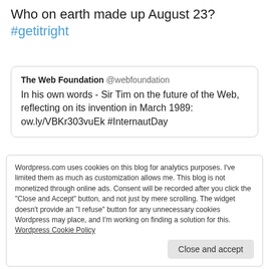Who on earth made up August 23? #getitright
[Figure (screenshot): Quoted tweet from The Web Foundation @webfoundation: In his own words - Sir Tim on the future of the Web, reflecting on its invention in March 1989: ow.ly/VBKr303vuEk #InternautDay]
Wordpress.com uses cookies on this blog for analytics purposes. I've limited them as much as customization allows me. This blog is not monetized through online ads. Consent will be recorded after you click the "Close and Accept" button, and not just by mere scrolling. The widget doesn't provide an "I refuse" button for any unnecessary cookies Wordpress may place, and I'm working on finding a solution for this. Wordpress Cookie Policy